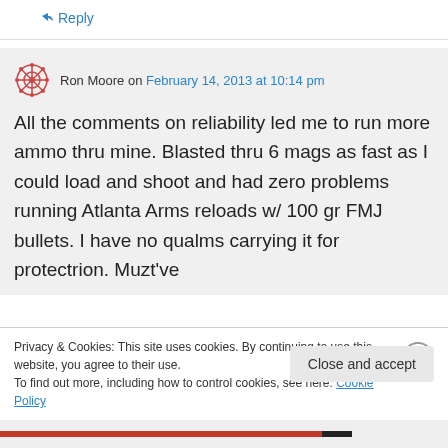↳ Reply
Ron Moore on February 14, 2013 at 10:14 pm
All the comments on reliability led me to run more ammo thru mine. Blasted thru 6 mags as fast as I could load and shoot and had zero problems running Atlanta Arms reloads w/ 100 gr FMJ bullets. I have no qualms carrying it for protectrion. Muzt've
Privacy & Cookies: This site uses cookies. By continuing to use this website, you agree to their use.
To find out more, including how to control cookies, see here: Cookie Policy
Close and accept